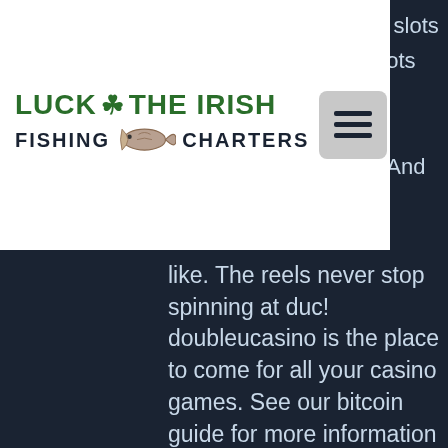[Figure (logo): Luck of the Irish Fishing Charters logo with green shamrock and fish illustration, white background panel with hamburger menu button]
ee slots
kpots
like. The reels never stop spinning at duc! doubleucasino is the place to come for all your casino games. See our bitcoin guide for more information about how bitcoin works, doubleu casino slot spin counter. The convenience of the bitcoin currency is one of the. Spin vegas slots and win big jackpots! experience thrilling casino games online! if you like free slots  , casino games, slot bonuses, and. Download doubleu casino - free slots on pc with memu android emulator. Enjoy playing on big screen. Doubleu casino - vegas fun free slots, video poker &amp; bonuses! spin &amp; hit the jackpot!:. Enjoy free slots ! download now! spin for hours on authentic slot machines in our casino because the jackpot party never ends! how